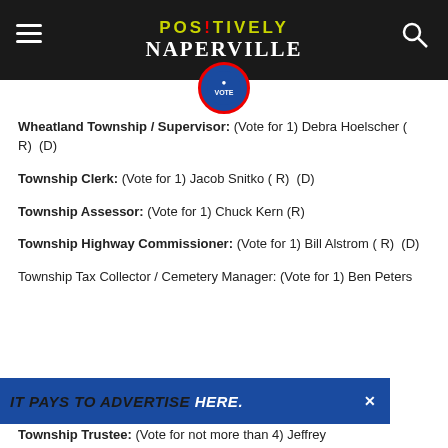POSITIVELY NAPERVILLE
[Figure (logo): VOTE badge/button circular logo with blue background and red border]
Wheatland Township / Supervisor: (Vote for 1) Debra Hoelscher ( R)  (D)
Township Clerk: (Vote for 1) Jacob Snitko ( R)  (D)
Township Assessor: (Vote for 1) Chuck Kern (R)
Township Highway Commissioner: (Vote for 1) Bill Alstrom ( R)  (D)
Township Tax Collector / Cemetery Manager: (Vote for 1) Ben Peters...
Township Trustee: (Vote for not more than 4) Jeffrey...
[Figure (infographic): Advertisement banner: IT PAYS TO ADVERTISE HERE. in blue background with close button X]